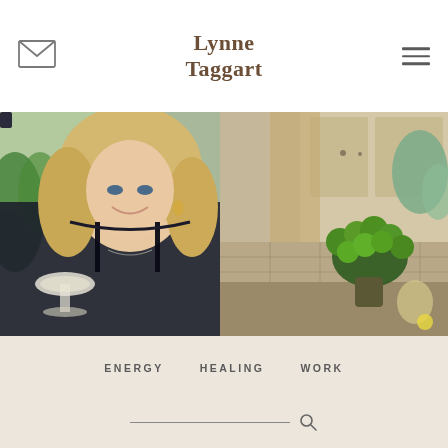Lynne Taggart
[Figure (photo): A smiling blonde woman in a black lace top holding a glass of white wine, photographed in a kitchen setting with green flowers and eucalyptus plants in the background.]
ENERGY
HEALING
WORK